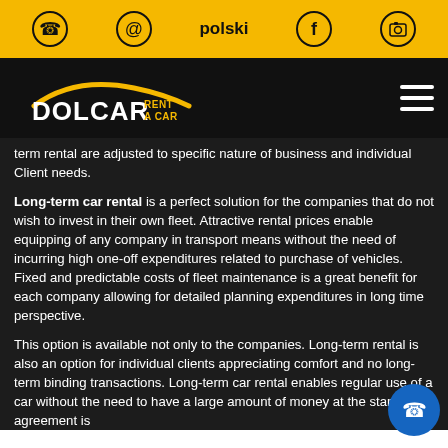polski
[Figure (logo): DOLCAR RENT A CAR logo in yellow and white on black background]
term rental are adjusted to specific nature of business and individual Client needs.
Long-term car rental is a perfect solution for the companies that do not wish to invest in their own fleet. Attractive rental prices enable equipping of any company in transport means without the need of incurring high one-off expenditures related to purchase of vehicles. Fixed and predictable costs of fleet maintenance is a great benefit for each company allowing for detailed planning expenditures in long time perspective.
This option is available not only to the companies. Long-term rental is also an option for individual clients appreciating comfort and no long-term binding transactions. Long-term car rental enables regular use of a car without the need to have a large amount of money at the start. The agreement is